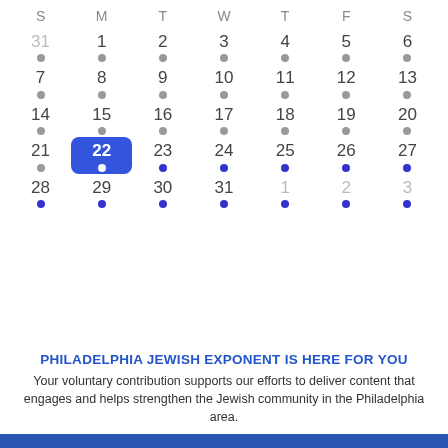[Figure (other): Monthly calendar grid showing days S M T W T F S. Row 1: 31,1,2,3,4,5,6 all with gray dots. Row 2: 7,8,9,10,11,12,13 all with gray dots. Row 3: 14,15,16,17,18,19,20 all with gray dots. Row 4: 21(gray dot), 22(selected/blue bg white dot), 23-27(blue dots). Row 5: 28,29,30,31,1,2,3 all with blue dots.]
PHILADELPHIA JEWISH EXPONENT IS HERE FOR YOU
Your voluntary contribution supports our efforts to deliver content that engages and helps strengthen the Jewish community in the Philadelphia area.
CONTRIBUTE